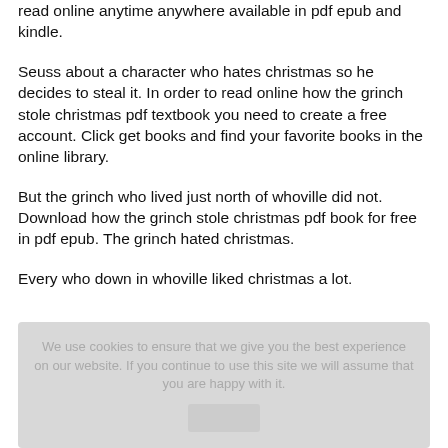read online anytime anywhere available in pdf epub and kindle.
Seuss about a character who hates christmas so he decides to steal it. In order to read online how the grinch stole christmas pdf textbook you need to create a free account. Click get books and find your favorite books in the online library.
But the grinch who lived just north of whoville did not. Download how the grinch stole christmas pdf book for free in pdf epub. The grinch hated christmas.
Every who down in whoville liked christmas a lot.
We use cookies to ensure that we give you the best experience on our website. If you continue to use this site we will assume that you are happy with it.